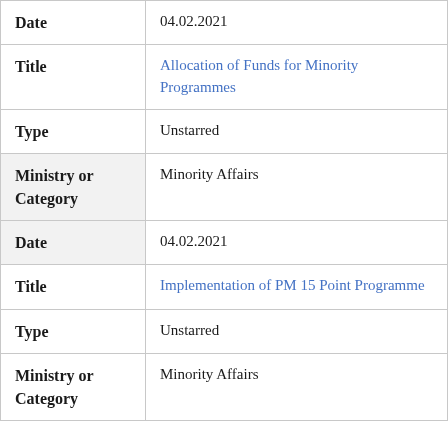| Field | Value |
| --- | --- |
| Date | 04.02.2021 |
| Title | Allocation of Funds for Minority Programmes |
| Type | Unstarred |
| Ministry or Category | Minority Affairs |
| Date | 04.02.2021 |
| Title | Implementation of PM 15 Point Programme |
| Type | Unstarred |
| Ministry or Category | Minority Affairs |